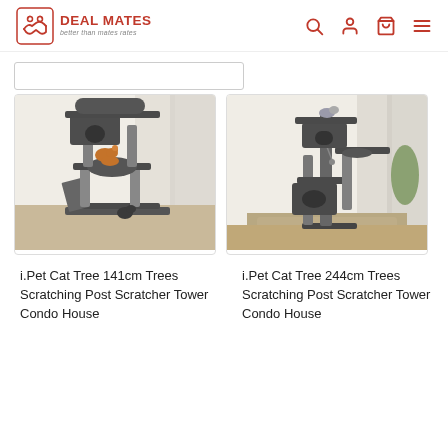DEAL MATES — better than mates rates
[Figure (screenshot): Partial search bar / filter area at top of product listing page]
[Figure (photo): i.Pet Cat Tree 141cm product photo — dark grey multi-level cat tower with scratching posts, two orange cats and one dark cat]
i.Pet Cat Tree 141cm Trees Scratching Post Scratcher Tower Condo House
[Figure (photo): i.Pet Cat Tree 244cm product photo — tall dark grey multi-level cat tower with scratching posts and cat condo, cat visible on top platform]
i.Pet Cat Tree 244cm Trees Scratching Post Scratcher Tower Condo House